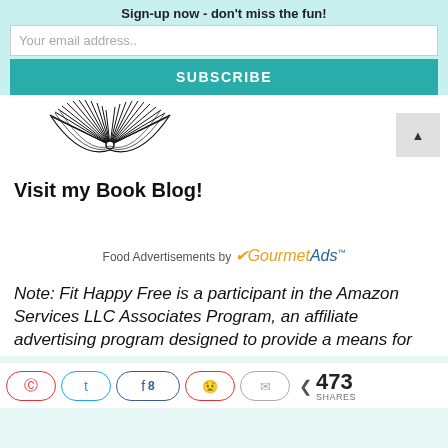Sign-up now - don't miss the fun!
Your email address..
SUBSCRIBE
[Figure (illustration): Black and white line drawing of an open book with pages fanned out]
Visit my Book Blog!
Food Advertisements by GourmetAds
Note: Fit Happy Free is a participant in the Amazon Services LLC Associates Program, an affiliate advertising program designed to provide a means for
473 SHARES